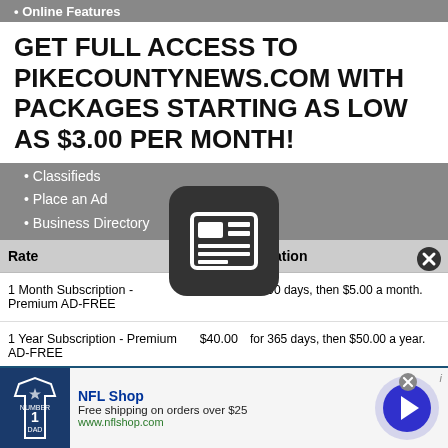Online Features
GET FULL ACCESS TO PIKECOUNTYNEWS.COM WITH PACKAGES STARTING AS LOW AS $3.00 PER MONTH!
Classifieds
Place an Ad
Business Directory
| Rate |  | Duration |
| --- | --- | --- |
| 1 Month Subscription - Premium AD-FREE | $4.00 | for 90 days, then $5.00 a month. |
| 1 Year Subscription - Premium AD-FREE | $40.00 | for 365 days, then $50.00 a year. |
| 1 Month Subscription - Basic | $3.00 | for 90 days, then $4.00 a month. |
| 1 Year Subscription - Basic | $30.00 | for 365 days, then $35 a year. |
[Figure (logo): NFL Shop advertisement with Cowboys jersey image, NFL Shop text, free shipping offer, and navigation arrow button]